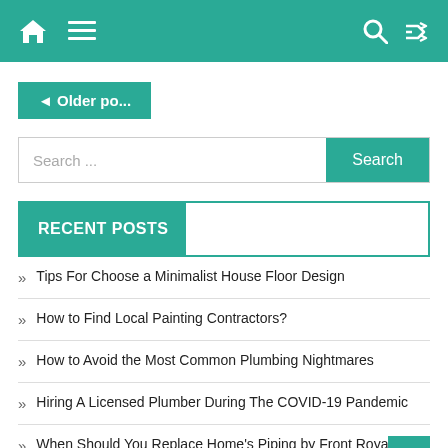Home | Menu | Search | Shuffle
◄ Older po...
Search ... [Search]
RECENT POSTS
» Tips For Choose a Minimalist House Floor Design
» How to Find Local Painting Contractors?
» How to Avoid the Most Common Plumbing Nightmares
» Hiring A Licensed Plumber During The COVID-19 Pandemic
» When Should You Replace Home's Piping by Front Royal Plumbers?